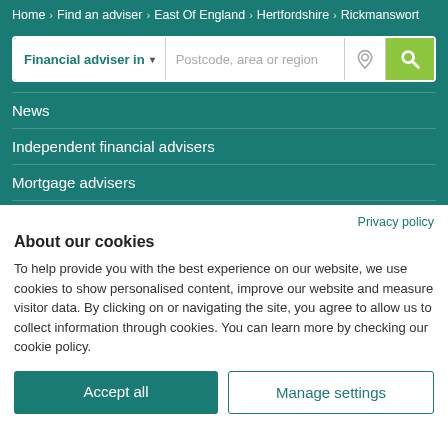Home > Find an adviser > East Of England > Hertfordshire > Rickmanswort
Financial adviser in ▼   Postcode, area or region
News
Independent financial advisers
Mortgage advisers
Privacy policy
About our cookies
To help provide you with the best experience on our website, we use cookies to show personalised content, improve our website and measure visitor data. By clicking on or navigating the site, you agree to allow us to collect information through cookies. You can learn more by checking our cookie policy.
Accept all
Manage settings